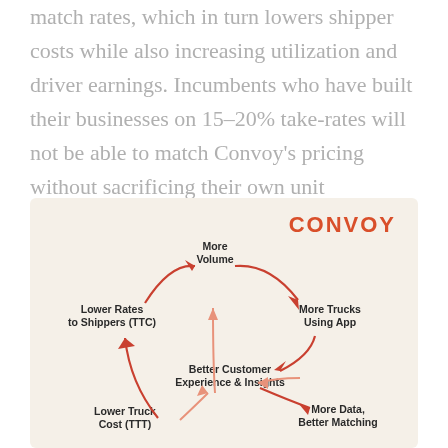match rates, which in turn lowers shipper costs while also increasing utilization and driver earnings. Incumbents who have built their businesses on 15–20% take-rates will not be able to match Convoy's pricing without sacrificing their own unit economics.
[Figure (flowchart): Convoy flywheel diagram showing a circular loop: More Volume → More Trucks Using App → Better Customer Experience & Insights → More Data, Better Matching → Lower Truck Cost (TTT) → Lower Rates to Shippers (TTC) → back to More Volume. The outer arrows are dark red/orange and inner arrows are a lighter salmon/orange. The CONVOY logo appears in the top right corner.]